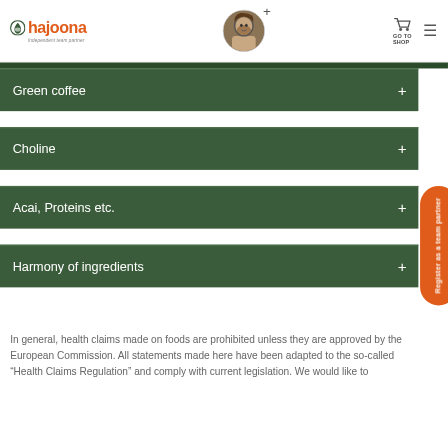hajoona — GO TO SHOP — Register as a team partner
Green coffee +
Choline +
Acai, Proteins etc. +
Harmony of ingredients +
In general, health claims made on foods are prohibited unless they are approved by the European Commission. All statements made here have been adapted to the so-called “Health Claims Regulation” and comply with current legislation. We would like to